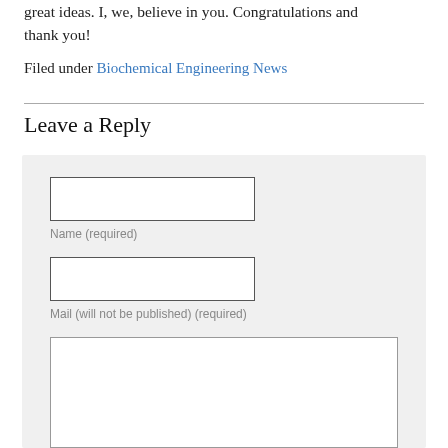great ideas. I, we, believe in you. Congratulations and thank you!
Filed under Biochemical Engineering News
Leave a Reply
Name (required)
Mail (will not be published) (required)